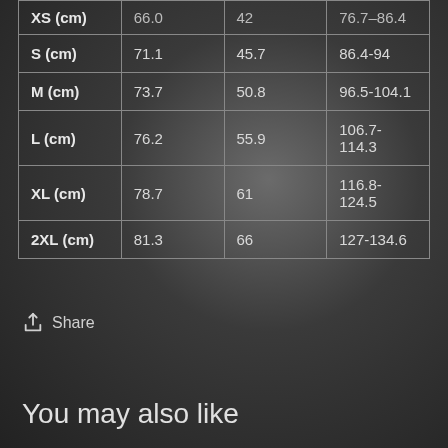| XS (cm) | 66.0 | 42 | 76.7–86.4 |
| S (cm) | 71.1 | 45.7 | 86.4-94 |
| M (cm) | 73.7 | 50.8 | 96.5-104.1 |
| L (cm) | 76.2 | 55.9 | 106.7-114.3 |
| XL (cm) | 78.7 | 61 | 116.8-124.5 |
| 2XL (cm) | 81.3 | 66 | 127-134.6 |
Share
You may also like